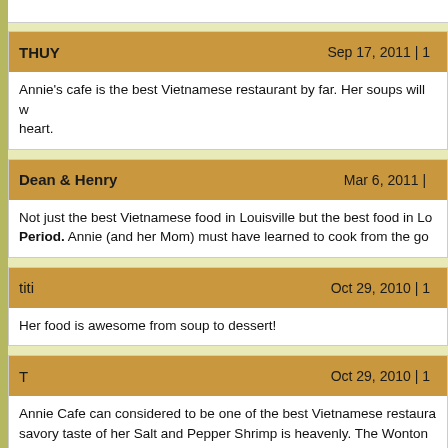THUY | Sep 17, 2011 | Annie's cafe is the best Vietnamese restaurant by far. Her soups will warm your heart.
Dean & Henry | Mar 6, 2011 | Not just the best Vietnamese food in Louisville but the best food in Lo... Period. Annie (and her Mom) must have learned to cook from the go...
titi | Oct 29, 2010 | Her food is awesome from soup to dessert!
T | Oct 29, 2010 | Annie Cafe can considered to be one of the best Vietnamese restaura... savory taste of her Salt and Pepper Shrimp is heavenly. The Wonton delicate taste and texture that can't be found anywhere else - thin wra... with ground pork in a rich savory chicken broth that has certainly simi... and tended well. Topped with a touch of black pepper and green onion... to the main entrees, there are varieties from vegetarian dishes to pou... seafoods depending on people references. My favorite dish is Speci...